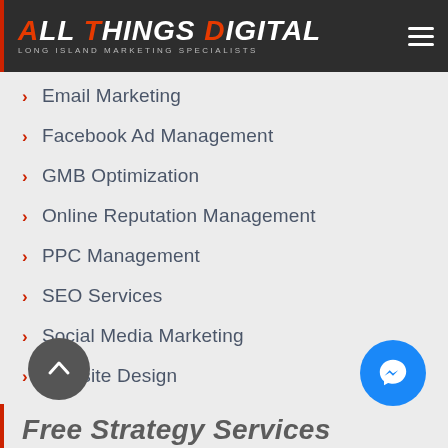All Things Digital — Long Island Marketing Specialists
Email Marketing
Facebook Ad Management
GMB Optimization
Online Reputation Management
PPC Management
SEO Services
Social Media Marketing
Website Design
Free Strategy Services